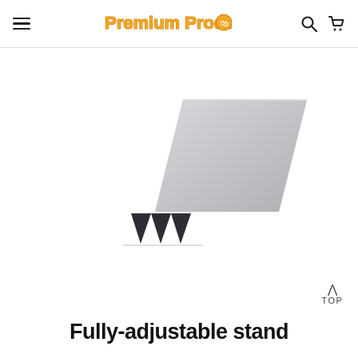Premium Products — navigation header with hamburger menu, logo, search and cart icons
[Figure (photo): Product photo of a laptop/tablet stand shown at an angle: a parallelogram-shaped light grey platform supported by three dark triangular feet on the left side.]
TOP
Fully-adjustable stand